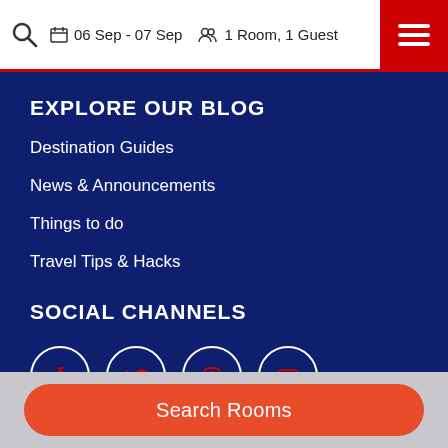06 Sep - 07 Sep  1 Room, 1 Guest
EXPLORE OUR BLOG
Destination Guides
News & Announcements
Things to do
Travel Tips & Hacks
SOCIAL CHANNELS
[Figure (infographic): Four social media icons in white-outlined circles: Facebook, Twitter, Instagram, YouTube]
Search Rooms